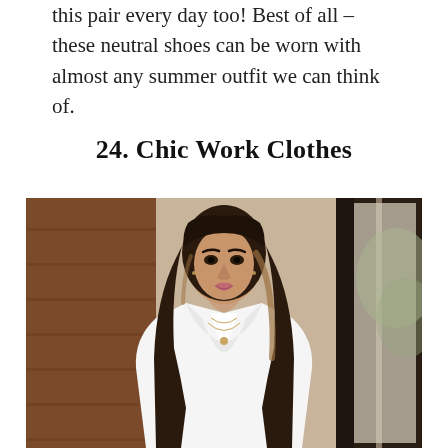this pair every day too! Best of all – these neutral shoes can be worn with almost any summer outfit we can think of.
24. Chic Work Clothes
[Figure (photo): A woman with long dark wavy hair with highlights wearing a white blazer and layered necklaces, standing in front of a wooden wall and glass doors with a blurred outdoor background.]